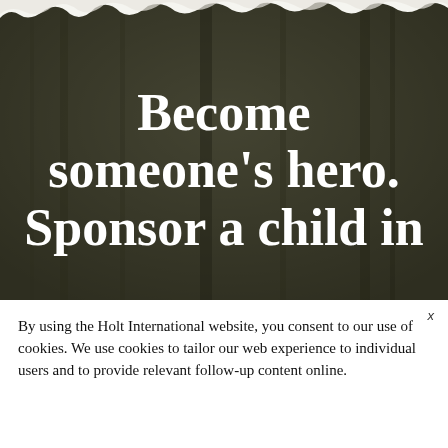[Figure (photo): Dark olive/brown textured background photo with torn paper edge at top, used as hero section background for a child sponsorship advertisement]
Become someone's hero. Sponsor a child in
By using the Holt International website, you consent to our use of cookies. We use cookies to tailor our web experience to individual users and to provide relevant follow-up content online.